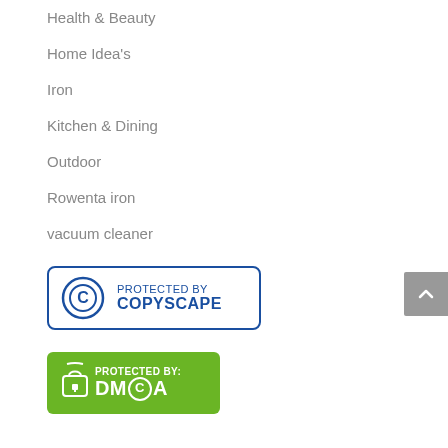Health & Beauty
Home Idea's
Iron
Kitchen & Dining
Outdoor
Rowenta iron
vacuum cleaner
[Figure (logo): Protected by Copyscape badge — blue bordered rectangle with copyright circle icon and text PROTECTED BY COPYSCAPE]
[Figure (logo): Protected by DMCA badge — green rounded rectangle with padlock icon and text PROTECTED BY: DMCA]